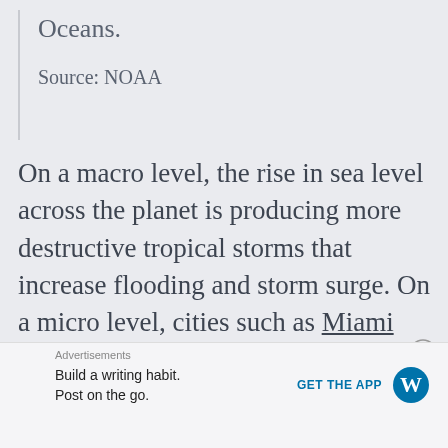Oceans.
Source: NOAA
On a macro level, the rise in sea level across the planet is producing more destructive tropical storms that increase flooding and storm surge. On a micro level, cities such as Miami are already trying to cope with the flooding that comes from cyclical changes in sea level such as high
Advertisements
Build a writing habit.
Post on the go.
GET THE APP